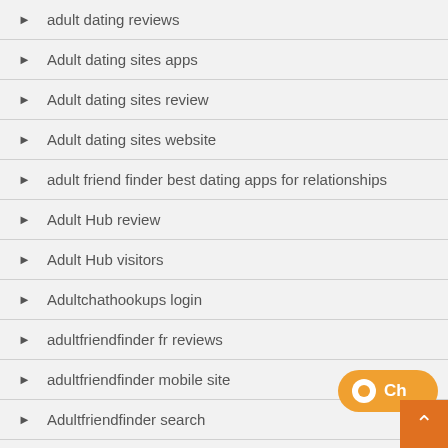adult dating reviews
Adult dating sites apps
Adult dating sites review
Adult dating sites website
adult friend finder best dating apps for relationships
Adult Hub review
Adult Hub visitors
Adultchathookups login
adultfriendfinder fr reviews
adultfriendfinder mobile site
Adultfriendfinder search